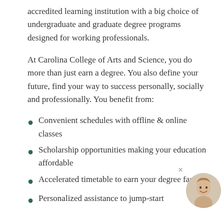accredited learning institution with a big choice of undergraduate and graduate degree programs designed for working professionals.
At Carolina College of Arts and Science, you do more than just earn a degree. You also define your future, find your way to success personally, socially and professionally. You benefit from:
Convenient schedules with offline & online classes
Scholarship opportunities making your education affordable
Accelerated timetable to earn your degree faster
Personalized assistance to jump-start